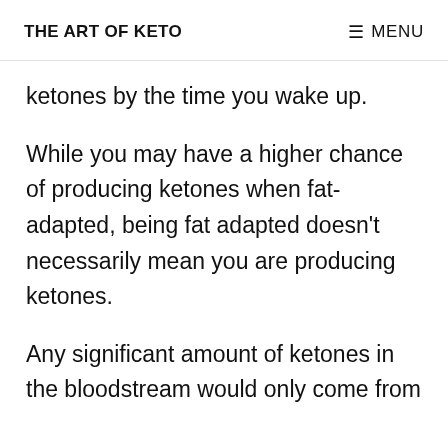THE ART OF KETO | MENU
ketones by the time you wake up.
While you may have a higher chance of producing ketones when fat-adapted, being fat adapted doesn’t necessarily mean you are producing ketones.
Any significant amount of ketones in the bloodstream would only come from